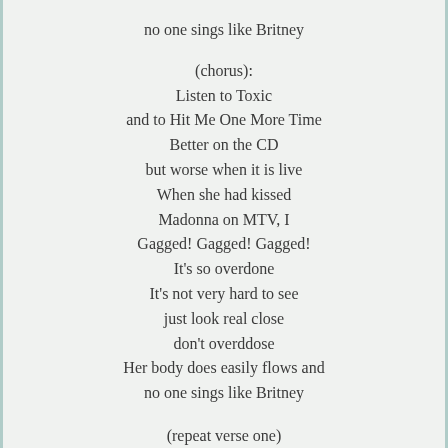no one sings like Britney
(chorus):
Listen to Toxic
and to Hit Me One More Time
Better on the CD
but worse when it is live
When she had kissed
Madonna on MTV, I
Gagged! Gagged! Gagged!
It's so overdone
It's not very hard to see
just look real close
don't overddose
Her body does easily flows and
no one sings like Britney
(repeat verse one)
(chorus):
Listen to Toxi...